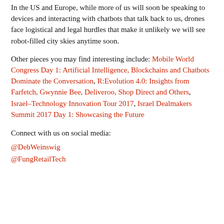In the US and Europe, while more of us will soon be speaking to devices and interacting with chatbots that talk back to us, drones face logistical and legal hurdles that make it unlikely we will see robot-filled city skies anytime soon.
Other pieces you may find interesting include: Mobile World Congress Day 1: Artificial Intelligence, Blockchains and Chatbots Dominate the Conversation, R:Evolution 4.0: Insights from Farfetch, Gwynnie Bee, Deliveroo, Shop Direct and Others, Israel–Technology Innovation Tour 2017, Israel Dealmakers Summit 2017 Day 1: Showcasing the Future
Connect with us on social media:
@DebWeinswig
@FungRetailTech